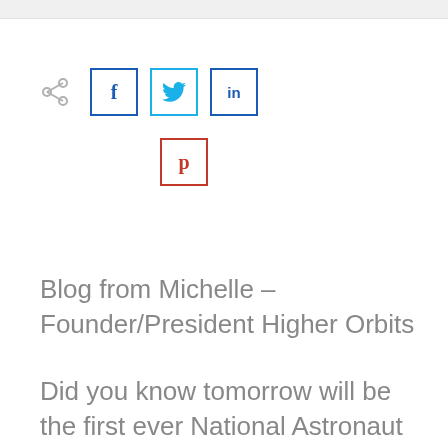[Figure (infographic): Social media share buttons: share icon, Facebook (f), Twitter (bird), LinkedIn (in), Pinterest (p)]
Blog from Michelle – Founder/President Higher Orbits
Did you know tomorrow will be the first ever National Astronaut Day?